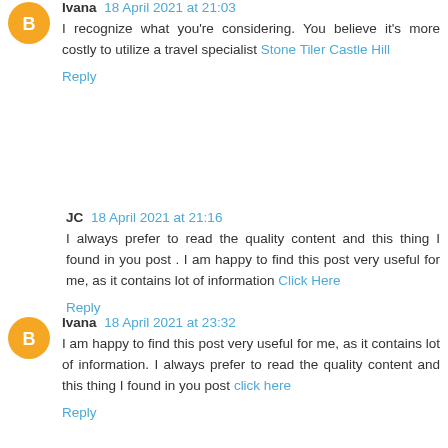Ivana 18 April 2021 at 21:03
I recognize what you're considering. You believe it's more costly to utilize a travel specialist Stone Tiler Castle Hill
Reply
JC 18 April 2021 at 21:16
I always prefer to read the quality content and this thing I found in you post . I am happy to find this post very useful for me, as it contains lot of information Click Here
Reply
Ivana 18 April 2021 at 23:32
I am happy to find this post very useful for me, as it contains lot of information. I always prefer to read the quality content and this thing I found in you post click here
Reply